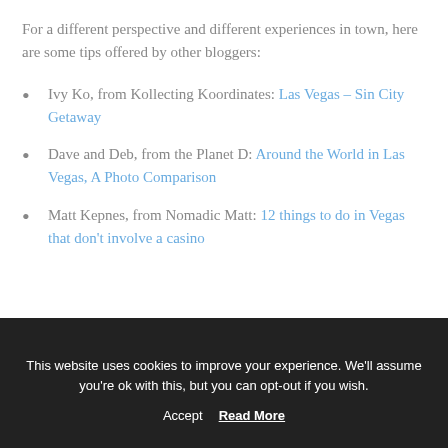For a different perspective and different experiences in town, here are some tips offered by other bloggers:
Ivy Ko, from Kollecting Koordinates: Las Vegas – Sin City Getaway
Dave and Deb, from the Planet D: Around the World in Las Vegas, A Photo Comparison
Matt Kepnes, from Nomadic Matt: 12 things to do in Vegas that don't involve a casino
This website uses cookies to improve your experience. We'll assume you're ok with this, but you can opt-out if you wish. Accept  Read More